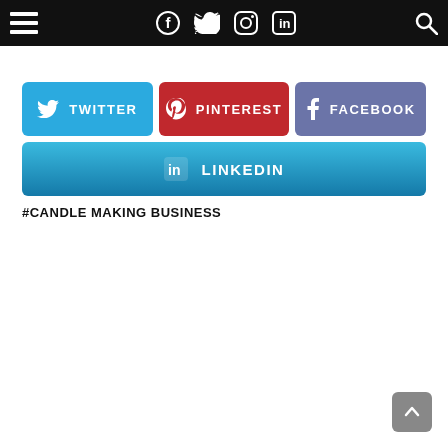Navigation bar with menu, social icons (Facebook, Twitter, Instagram, LinkedIn), and search
[Figure (infographic): Social share buttons: Twitter (blue), Pinterest (red), Facebook (purple), LinkedIn (blue gradient)]
#CANDLE MAKING BUSINESS